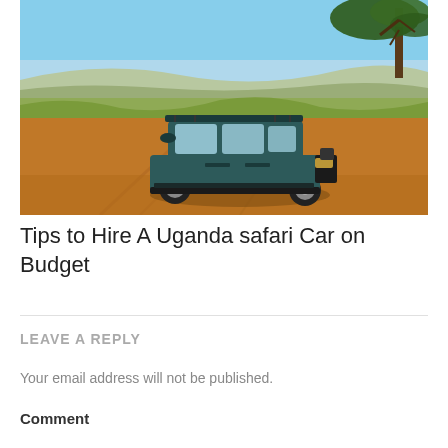[Figure (photo): A teal/dark blue Toyota Land Cruiser SUV parked on a red dirt road in an African savanna landscape with dry grass, open plains, blue sky, and a tree on the right edge.]
Tips to Hire A Uganda safari Car on Budget
LEAVE A REPLY
Your email address will not be published.
Comment